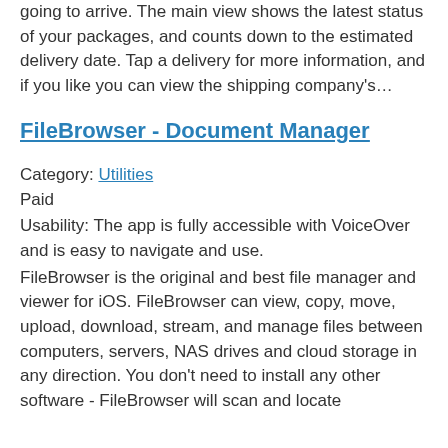going to arrive. The main view shows the latest status of your packages, and counts down to the estimated delivery date. Tap a delivery for more information, and if you like you can view the shipping company's…
FileBrowser - Document Manager
Category: Utilities
Paid
Usability: The app is fully accessible with VoiceOver and is easy to navigate and use.
FileBrowser is the original and best file manager and viewer for iOS. FileBrowser can view, copy, move, upload, download, stream, and manage files between computers, servers, NAS drives and cloud storage in any direction. You don't need to install any other software - FileBrowser will scan and locate